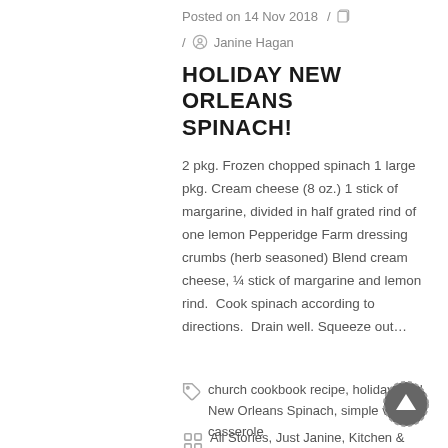Posted on 14 Nov 2018 / / Janine Hagan
HOLIDAY NEW ORLEANS SPINACH!
2 pkg. Frozen chopped spinach 1 large pkg. Cream cheese (8 oz.) 1 stick of margarine, divided in half grated rind of one lemon Pepperidge Farm dressing crumbs (herb seasoned) Blend cream cheese, ¼ stick of margarine and lemon rind.  Cook spinach according to directions.  Drain well. Squeeze out…
church cookbook recipe, holiday food, New Orleans Spinach, simple veggie casserole
All Stories, Just Janine, Kitchen &